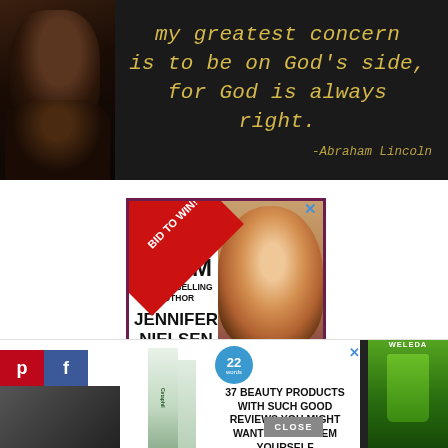[Figure (photo): Dark background image with Abraham Lincoln portrait on left and gold italic text quote on right: 'my greatest concern is to be on God's side, for God is always right. -Abraham Lincoln']
[Figure (infographic): Advertisement for Zoom event with best-selling author Jennifer Nielsen. Red diagonal 'BID TO WIN!' banner in upper left corner. Photo of smiling blonde woman on right half. Text: 'ZOOM w/ BEST-SELLING AUTHOR JENNIFER NIELSEN'. CLOSE button at bottom right.]
[Figure (infographic): Bottom advertisement strip: skincare products (Cetaphil, others) on left, central text '22 WORDS: 37 BEAUTY PRODUCTS WITH SUCH GOOD REVIEWS YOU MIGHT WANT TO TRY THEM YOURSELF', Weleda product on right. Pinterest and Facebook icons on far left. Dark image in bottom right corner.]